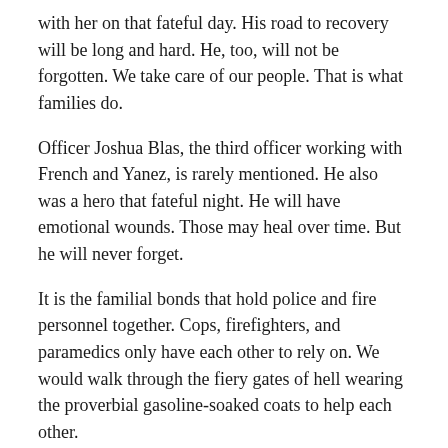with her on that fateful day. His road to recovery will be long and hard. He, too, will not be forgotten. We take care of our people. That is what families do.
Officer Joshua Blas, the third officer working with French and Yanez, is rarely mentioned. He also was a hero that fateful night. He will have emotional wounds. Those may heal over time. But he will never forget.
It is the familial bonds that hold police and fire personnel together. Cops, firefighters, and paramedics only have each other to rely on. We would walk through the fiery gates of hell wearing the proverbial gasoline-soaked coats to help each other.
“We never forget.” We will remember Officer Ella French. We remember the over 500 police officers whose lives were taken. We remember the over 570 firefighters and paramedics killed in the line of duty.